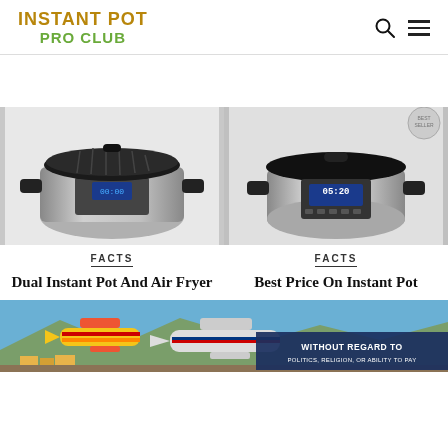INSTANT POT PRO CLUB
[Figure (photo): Instant Pot Duo Crisp with Air Fryer lid, stainless steel body with digital display showing time]
FACTS
Dual Instant Pot And Air Fryer
[Figure (photo): Instant Pot Ultra with black lid, stainless steel body with digital display showing 05:20]
FACTS
Best Price On Instant Pot
[Figure (photo): Airport scene with Southwest Airlines and American Airlines planes, cargo loading, with dark blue overlay text reading WITHOUT REGARD TO]